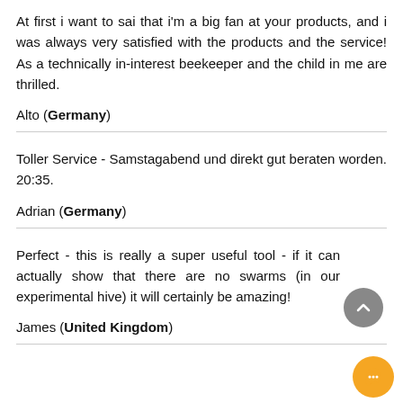At first i want to sai that i'm a big fan at your products, and i was always very satisfied with the products and the service! As a technically in-interest beekeeper and the child in me are thrilled.
Alto (Germany)
Toller Service - Samstagabend und direkt gut beraten worden. 20:35.
Adrian (Germany)
Perfect - this is really a super useful tool - if it can actually show that there are no swarms (in our experimental hive) it will certainly be amazing!
James (United Kingdom)